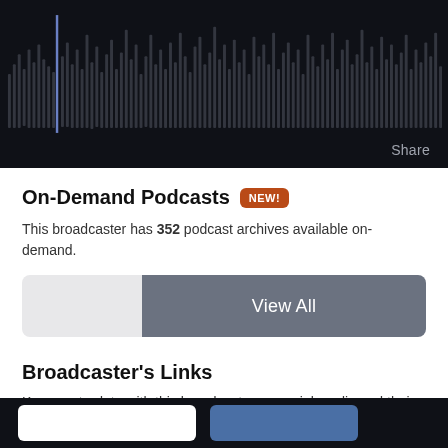[Figure (illustration): Dark themed audio waveform player with vertical bars in grey tones, with a blue playhead marker on the left side. 'Share' text label on the right.]
On-Demand Podcasts NEW!
This broadcaster has 352 podcast archives available on-demand.
View All
Broadcaster's Links
Keep up-to-date with this broadcaster on social media and their website.